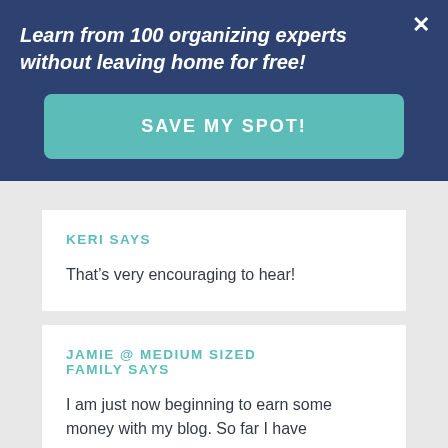Learn from 100 organizing experts without leaving home for free!
SAVE MY SPOT!
KERI SAYS
That's very encouraging to hear!
JAMIE @ MEDIUM SIZED FAMILY SAYS
I am just now beginning to earn some money with my blog. So far I have